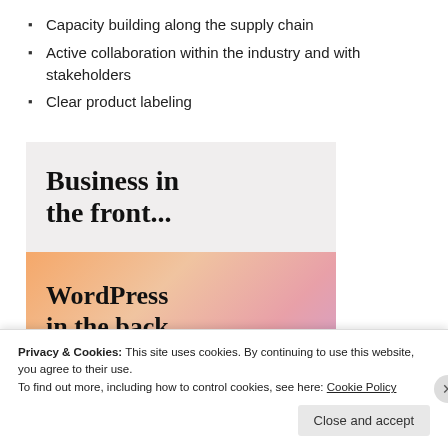Capacity building along the supply chain
Active collaboration within the industry and with stakeholders
Clear product labeling
[Figure (illustration): Advertisement banner split into two halves. Top half has light grey background with bold serif text 'Business in the front...'. Bottom half has orange/peach gradient background with bold serif text 'WordPress in the back.' and a partial logo at the bottom.]
Privacy & Cookies: This site uses cookies. By continuing to use this website, you agree to their use.
To find out more, including how to control cookies, see here: Cookie Policy